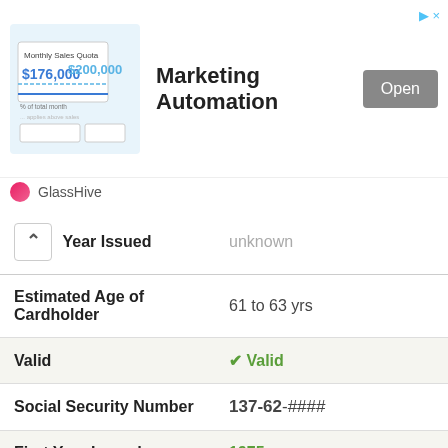[Figure (screenshot): Advertisement banner for GlassHive Marketing Automation with image, Open button, and close controls]
| Field | Value |
| --- | --- |
| Year Issued | unknown |
| Estimated Age of Cardholder | 61 to 63 yrs |
| Valid | ✓ Valid |
| Social Security Number | 137-62-#### |
| First Year Issued | 1975 |
| Last Year Issued | unknown |
| Estimated Age of Cardholder | 61 to 63 yrs |
| Valid | ✓ Valid |
| Social Security Number | 137-64-#### |